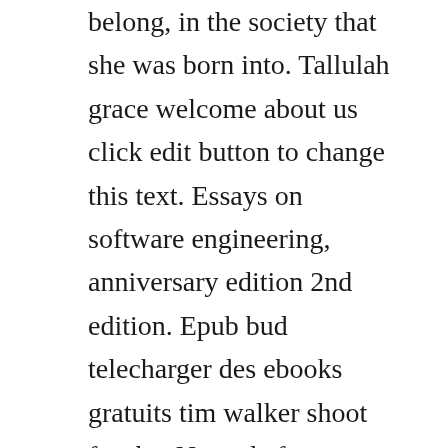belong, in the society that she was born into. Tallulah grace welcome about us click edit button to change this text. Essays on software engineering, anniversary edition 2nd edition. Epub bud telecharger des ebooks gratuits tim walker shoot for the. Named after a paddle steamer that brought a former president downstream to the township, this historic inn dates back to. Lolah lace is a best selling author of erotic romantic fiction in various sub genres.
Members combine editions, disambiguate authors and much more. Tara pammi ebooks